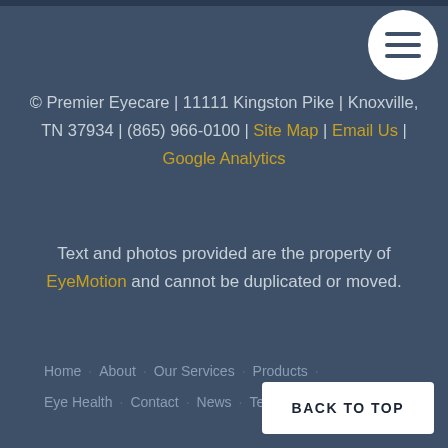© Premier Eyecare | 11111 Kingston Pike | Knoxville, TN 37934 | (865) 966-0100 | Site Map | Email Us | Google Analytics
Text and photos provided are the property of EyeMotion and cannot be duplicated or moved.
Home · About · Our Services · Products · Eye Health · Contact · News · Technology
BACK TO TOP